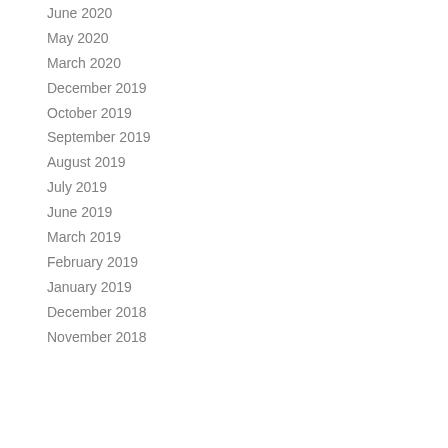June 2020
May 2020
March 2020
December 2019
October 2019
September 2019
August 2019
July 2019
June 2019
March 2019
February 2019
January 2019
December 2018
November 2018